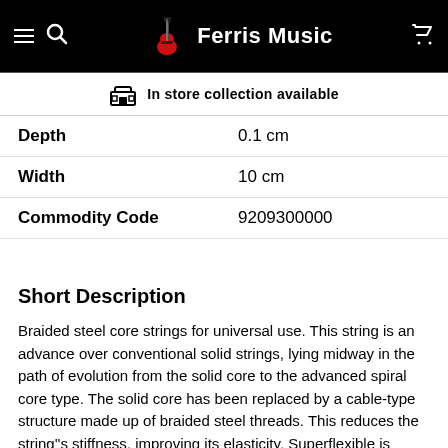Ferris Music
In store collection available
| Property | Value |
| --- | --- |
| Depth | 0.1 cm |
| Width | 10 cm |
| Commodity Code | 9209300000 |
Short Description
Braided steel core strings for universal use. This string is an advance over conventional solid strings, lying midway in the path of evolution from the solid core to the advanced spiral core type. The solid core has been replaced by a cable-type structure made up of braided steel threads. This reduces the string''s stiffness, improving its elasticity. Superflexible is incomparably responsive and its tone seems to literally radiate from the instrument, without the least harshness. Durability, tuning stability and purity of open fifths are unsurpassed. Superflexible is a dependable all-round strings